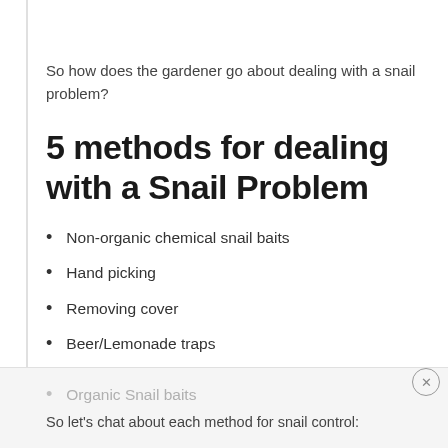So how does the gardener go about dealing with a snail problem?
5 methods for dealing with a Snail Problem
Non-organic chemical snail baits
Hand picking
Removing cover
Beer/Lemonade traps
Organic Snail baits
So let's chat about each method for snail control: